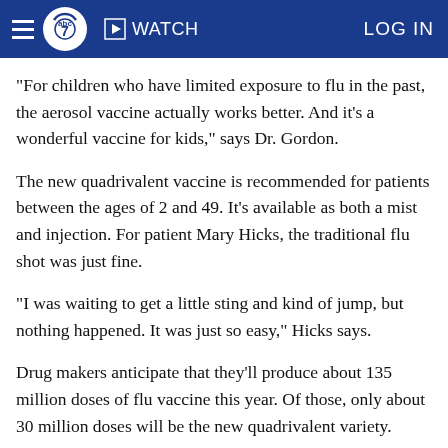ABC7 WATCH LOG IN
"For children who have limited exposure to flu in the past, the aerosol vaccine actually works better. And it's a wonderful vaccine for kids," says Dr. Gordon.
The new quadrivalent vaccine is recommended for patients between the ages of 2 and 49. It's available as both a mist and injection. For patient Mary Hicks, the traditional flu shot was just fine.
"I was waiting to get a little sting and kind of jump, but nothing happened. It was just so easy," Hicks says.
Drug makers anticipate that they'll produce about 135 million doses of flu vaccine this year. Of those, only about 30 million doses will be the new quadrivalent variety.